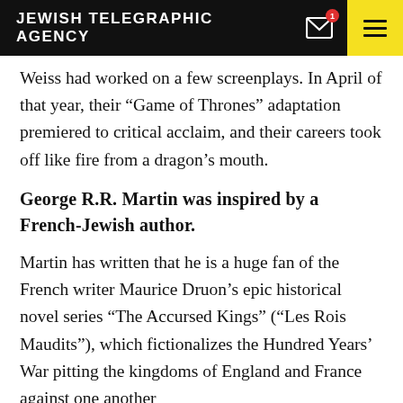JEWISH TELEGRAPHIC AGENCY
Weiss had worked on a few screenplays. In April of that year, their “Game of Thrones” adaptation premiered to critical acclaim, and their careers took off like fire from a dragon’s mouth.
George R.R. Martin was inspired by a French-Jewish author.
Martin has written that he is a huge fan of the French writer Maurice Druon’s epic historical novel series “The Accursed Kings” (“Les Rois Maudits”), which fictionalizes the Hundred Years’ War pitting the kingdoms of England and France against one another